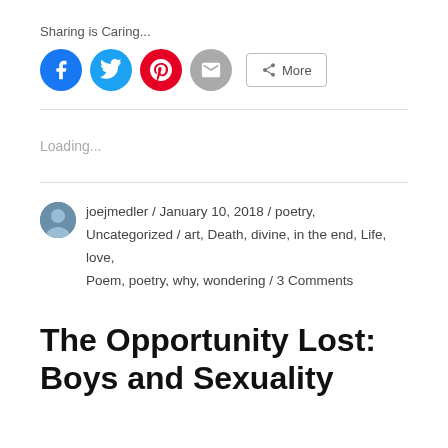Sharing is Caring...
[Figure (infographic): Social sharing buttons: Facebook (blue circle), Twitter (light blue circle), Pinterest (red circle), Email (gray circle), and a More button with share icon]
Loading...
joejmedler / January 10, 2018 / poetry, Uncategorized / art, Death, divine, in the end, Life, love, Poem, poetry, why, wondering / 3 Comments
The Opportunity Lost: Boys and Sexuality